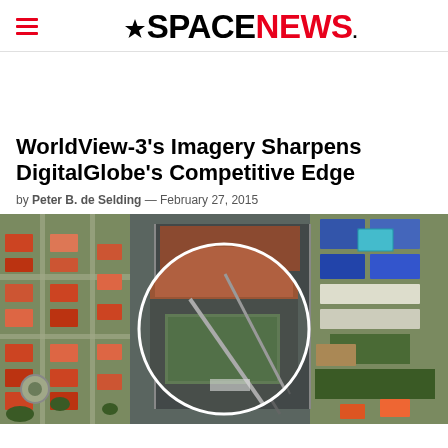SPACENEWS
WorldView-3’s Imagery Sharpens DigitalGlobe’s Competitive Edge
by Peter B. de Selding — February 27, 2015
[Figure (photo): Aerial satellite imagery showing a zoomed-in circular inset of large warehouse/industrial buildings viewed from above, with surrounding urban landscape including residential areas, parking lots, and a swimming pool complex]